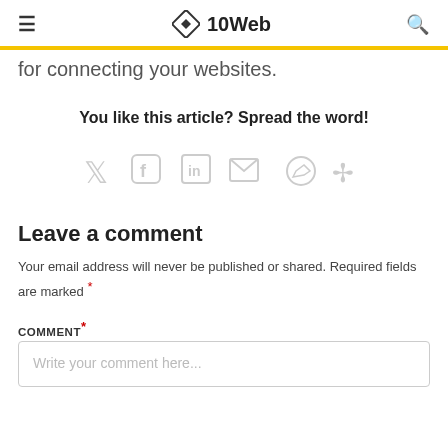≡  10Web  🔍
for connecting your websites.
You like this article? Spread the word!
[Figure (other): Row of social sharing icons: Twitter, Facebook, LinkedIn, Email, Messenger, Slack]
Leave a comment
Your email address will never be published or shared. Required fields are marked *
COMMENT*
Write your comment here...